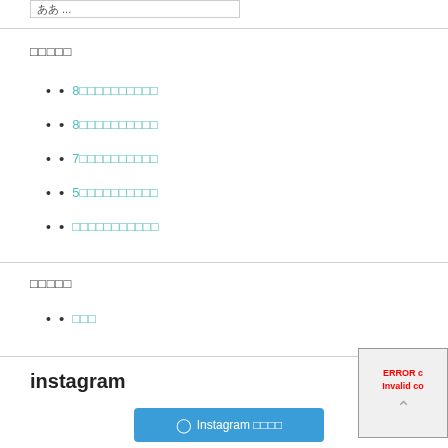ああ ...
□□□□□
8□□□□□□□□□□
8□□□□□□□□□□
7□□□□□□□□□□
5□□□□□□□□□□
□□□□□□□□□□□
□□□□□
□□□
instagram
[Figure (other): Instagram button with camera icon and Japanese text, and an error overlay in bottom right corner]